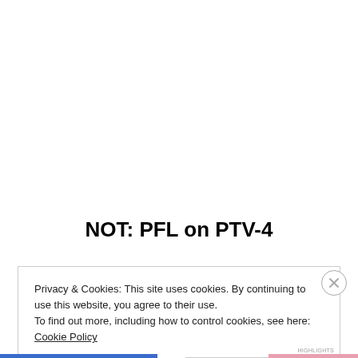NOT: PFL on PTV-4
Privacy & Cookies: This site uses cookies. By continuing to use this website, you agree to their use.
To find out more, including how to control cookies, see here: Cookie Policy
Close and accept